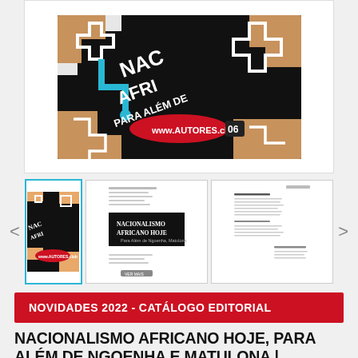[Figure (photo): Book cover of 'Nacionalismo Africano Hoje, Para Além de Ngoenha e Matulona' displayed as main image with African geometric patterns in black, orange, white and teal colors. Shows www.AUTORES.club 06 label.]
[Figure (photo): Thumbnail gallery showing three previews of the book: cover, title page, and table of contents. Navigation arrows on each side.]
NOVIDADES 2022 - CATÁLOGO EDITORIAL
NACIONALISMO AFRICANO HOJE, PARA ALÉM DE NGOENHA E MATULONA | AFRICAN NATIONALISM TODAY, IN ADDITION TO NGOENHA